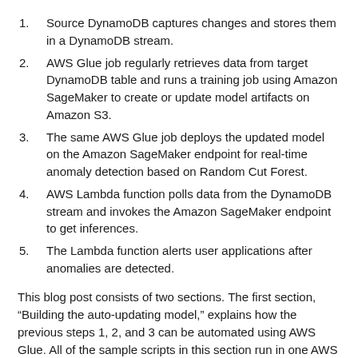Source DynamoDB captures changes and stores them in a DynamoDB stream.
AWS Glue job regularly retrieves data from target DynamoDB table and runs a training job using Amazon SageMaker to create or update model artifacts on Amazon S3.
The same AWS Glue job deploys the updated model on the Amazon SageMaker endpoint for real-time anomaly detection based on Random Cut Forest.
AWS Lambda function polls data from the DynamoDB stream and invokes the Amazon SageMaker endpoint to get inferences.
The Lambda function alerts user applications after anomalies are detected.
This blog post consists of two sections. The first section, “Building the auto-updating model,” explains how the previous steps 1, 2, and 3 can be automated using AWS Glue. All of the sample scripts in this section run in one AWS Glue job. The second section, “Detecting anomalies in real time,” shows how the AWS Lambda function processes previous steps 4 and 5 for anomaly detection.